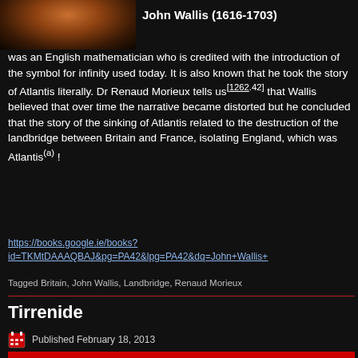[Figure (photo): Portrait painting of John Wallis, showing a figure in dark clothing with orange/red robe or garment against a dark background]
John Wallis (1616-1703)
was an English mathematician who is credited with the introduction of the symbol for infinity used today. It is also known that he took the story of Atlantis literally. Dr Renaud Morieux tells us[1262.42] that Wallis believed that over time the narrative became distorted but he concluded that the story of the sinking of Atlantis related to the destruction of the landbridge between Britain and France, isolating England, which was Atlantis(a) !
https://books.google.ie/books?id=TKMtDAAAQBAJ&pg=PA42&lpg=PA42&dq=John+Wallis+
Tagged Britain, John Wallis, Landbridge, Renaud Morieux
Tirrenide
Published February 18, 2013